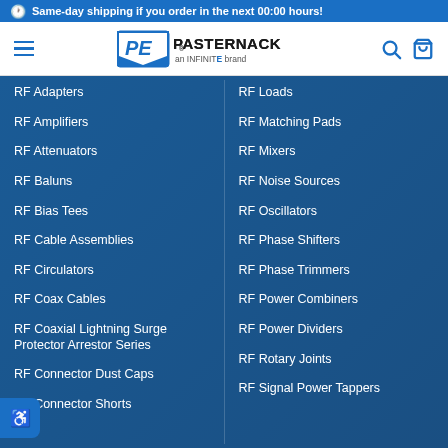Same-day shipping if you order in the next 00:00 hours!
[Figure (logo): Pasternack logo - PE shield logo with 'PASTERNACK an INFINITE brand' text]
RF Adapters
RF Loads
RF Amplifiers
RF Matching Pads
RF Attenuators
RF Mixers
RF Baluns
RF Noise Sources
RF Bias Tees
RF Oscillators
RF Cable Assemblies
RF Phase Shifters
RF Circulators
RF Phase Trimmers
RF Coax Cables
RF Power Combiners
RF Coaxial Lightning Surge Protector Arrestor Series
RF Power Dividers
RF Rotary Joints
RF Connector Dust Caps
RF Signal Power Tappers
RF Connector Shorts